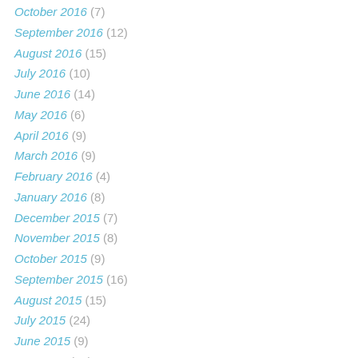October 2016 (7)
September 2016 (12)
August 2016 (15)
July 2016 (10)
June 2016 (14)
May 2016 (6)
April 2016 (9)
March 2016 (9)
February 2016 (4)
January 2016 (8)
December 2015 (7)
November 2015 (8)
October 2015 (9)
September 2015 (16)
August 2015 (15)
July 2015 (24)
June 2015 (9)
May 2015 (13)
April 2015 (9)
March 2015 (10)